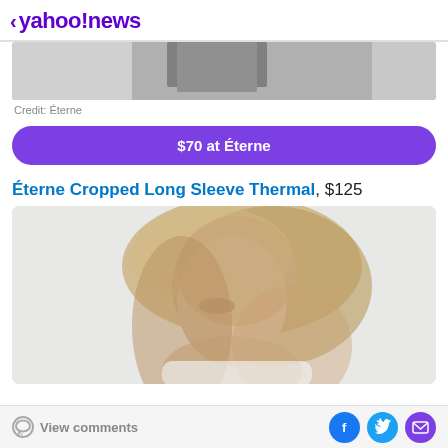< yahoo!news
[Figure (photo): Partial black and white photo of a person, cropped showing lower torso/legs area]
Credit: Éterne
$70 at Éterne
Éterne Cropped Long Sleeve Thermal, $125
[Figure (photo): Photo of a blonde woman with long wavy hair looking downward, light gray background]
View comments